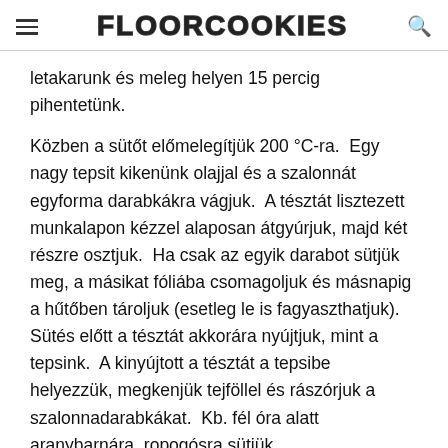FLOORCOOKIES
letakarunk és meleg helyen 15 percig pihentetünk.
Közben a sütőt előmelegítjük 200 °C-ra.  Egy nagy tepsit kikenünk olajjal és a szalonnát egyforma darabkákra vágjuk.  A tésztát lisztezett munkalapon kézzel alaposan átgyúrjuk, majd két részre osztjuk.  Ha csak az egyik darabot sütjük meg, a másikat fóliába csomagoljuk és másnapig a hűtőben tároljuk (esetleg le is fagyaszthatjuk).  Sütés előtt a tésztát akkorára nyújtjuk, mint a tepsink.  A kinyújtott a tésztát a tepsibe helyezzük, megkenjük tejföllel és rászórjuk a szalonnadarabkákat.  Kb. fél óra alatt aranybarnára, ropogósra sütjük.